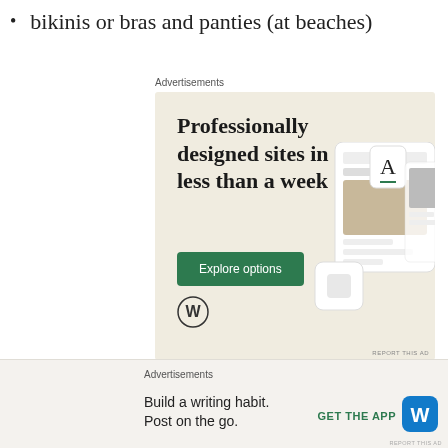bikinis or bras and panties (at beaches)
[Figure (other): WordPress advertisement banner: 'Professionally designed sites in less than a week' with Explore options button and website screenshots on beige background]
[Figure (other): WordPress advertisement bar at bottom: 'Build a writing habit. Post on the go.' with GET THE APP button and WordPress logo]